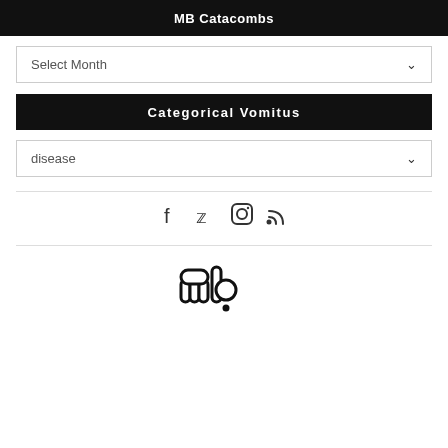MB Catacombs
Select Month
Categorical Vomitus
disease
[Figure (logo): Social media icons: Facebook, Twitter, Instagram, RSS]
[Figure (logo): MB logo — stylized 'mb' with dot, black outline, white fill]